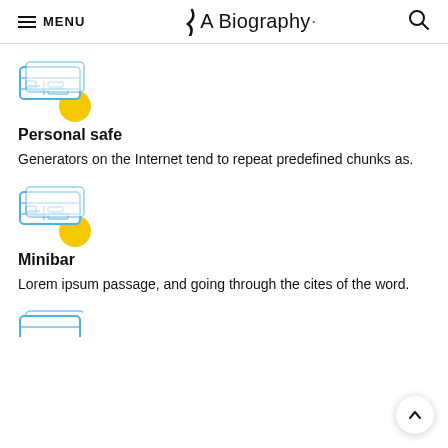MENU | A Biography
[Figure (illustration): Ticket/card icon with yellow circle badge]
Personal safe
Generators on the Internet tend to repeat predefined chunks as.
[Figure (illustration): Ticket/card icon with yellow circle badge]
Minibar
Lorem ipsum passage, and going through the cites of the word.
[Figure (illustration): Partial ticket/card icon (cropped at bottom of page)]